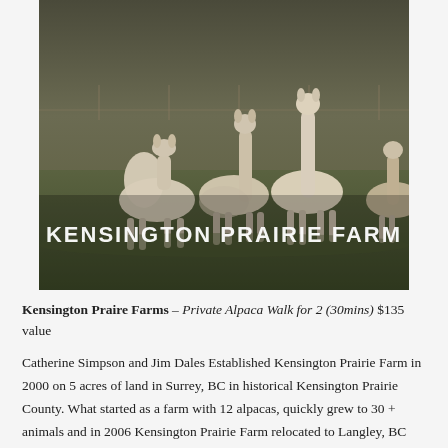[Figure (photo): A group of alpacas standing on grass in a farm field with fencing in the background. Text overlay reads 'KENSINGTON PRAIRIE FARM' in white capital letters.]
Kensington Praire Farms – Private Alpaca Walk for 2 (30mins) $135 value
Catherine Simpson and Jim Dales Established Kensington Prairie Farm in 2000 on 5 acres of land in Surrey, BC in historical Kensington Prairie County. What started as a farm with 12 alpacas, quickly grew to 30 + animals and in 2006 Kensington Prairie Farm relocated to Langley, BC and expanded its operations